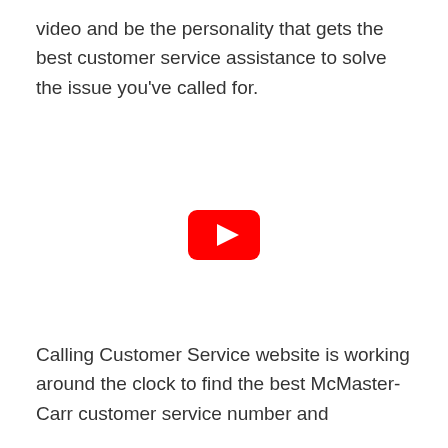video and be the personality that gets the best customer service assistance to solve the issue you've called for.
[Figure (other): YouTube play button icon — a red rounded rectangle with a white right-pointing triangle in the center]
Calling Customer Service website is working around the clock to find the best McMaster-Carr customer service number and